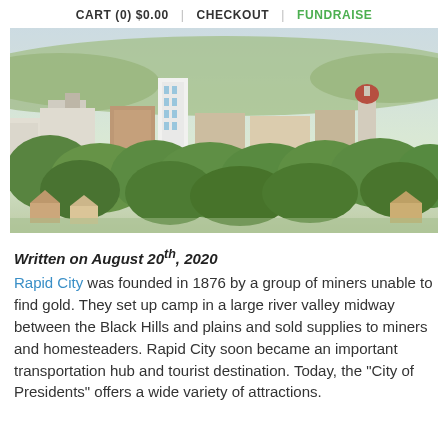CART (0) $0.00  |  CHECKOUT  |  FUNDRAISE
[Figure (photo): Aerial panoramic view of Rapid City, South Dakota, showing downtown buildings surrounded by lush green trees, with hills in the background under a hazy sky.]
Written on August 20th, 2020
Rapid City was founded in 1876 by a group of miners unable to find gold. They set up camp in a large river valley midway between the Black Hills and plains and sold supplies to miners and homesteaders. Rapid City soon became an important transportation hub and tourist destination. Today, the "City of Presidents" offers a wide variety of attractions.